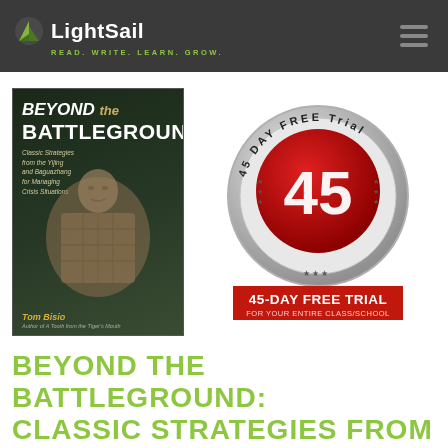LightSail — READ. WRITE. LEARN. GROW.
[Figure (illustration): Book cover for 'Beyond the Battleground: Classic Strategies from the Yijing and Baguazhang for Managing Crisis Situations' by Tom Bisio, featuring a terracotta warrior statue]
[Figure (infographic): 45 Day Free Trial badge — circular silver badge with red center showing the number 45, and a red ribbon banner reading '45-DAY FREE TRIAL FOR YOUR ENTIRE CLASS/SCHOOL']
BEYOND THE BATTLEGROUND: CLASSIC STRATEGIES FROM